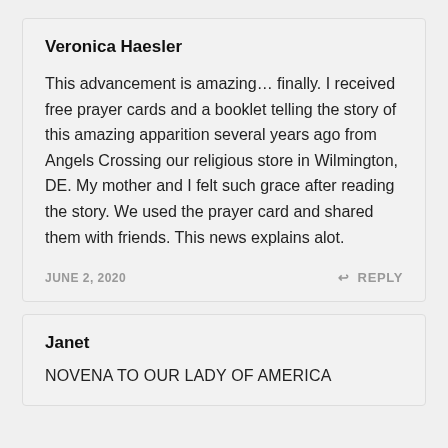Veronica Haesler
This advancement is amazing… finally. I received free prayer cards and a booklet telling the story of this amazing apparition several years ago from Angels Crossing our religious store in Wilmington, DE. My mother and I felt such grace after reading the story. We used the prayer card and shared them with friends. This news explains alot.
JUNE 2, 2020
↩ REPLY
Janet
NOVENA TO OUR LADY OF AMERICA